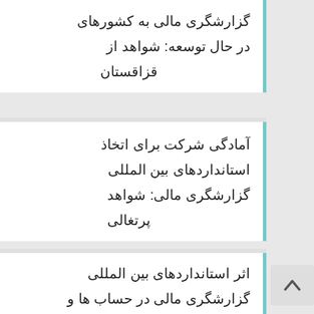گزارشگری مالی به کشورهای در حال توسعه: شواهد از قزاقستان
آمادگی شرکت برای اتخاذ استانداردهای بین المللی گزارشگری مالی: شواهد پرتغالی
اثر استانداردهای بین المللی گزارشگری مالی در حساب ها و ...